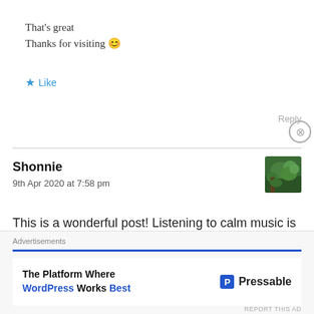That's great
Thanks for visiting 😊
★ Like
Reply
Shonnie
9th Apr 2020 at 7:58 pm
[Figure (photo): Avatar photo of commenter Shonnie, showing green foliage background]
This is a wonderful post! Listening to calm music is very helpful. As well as reading the bible as some have mentioned. The bible can give us wonderful advice for
Advertisements
The Platform Where WordPress Works Best — Pressable